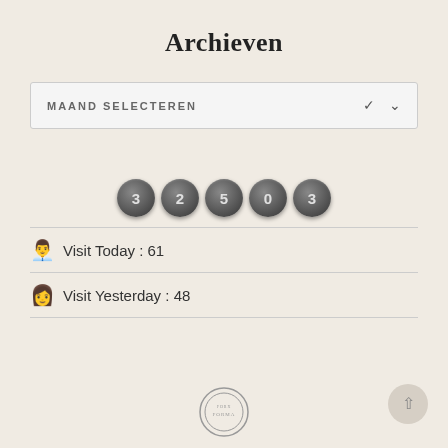Archieven
[Figure (other): Dropdown selector box labeled MAAND SELECTEREN with a chevron arrow on the right]
[Figure (other): Five dark grey metallic digit circles showing digits 3, 2, 5, 0, 3 representing a visitor counter total of 32503]
Visit Today : 61
Visit Yesterday : 48